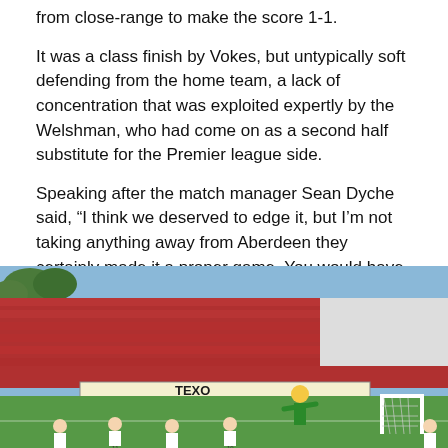from close-range to make the score 1-1.
It was a class finish by Vokes, but untypically soft defending from the home team, a lack of concentration that was exploited expertly by the Welshman, who had come on as a second half substitute for the Premier league side.
Speaking after the match manager Sean Dyche said, “I think we deserved to edge it, but I’m not taking anything away from Aberdeen they certainly made it a proper game. You would have taken a draw and an away goal with how the game has panned out.”
[Figure (photo): Football match scene at a stadium with red seats in the background, players in white kits on the pitch, a goalkeeper visible in the center, and advertising board showing TEXO.]